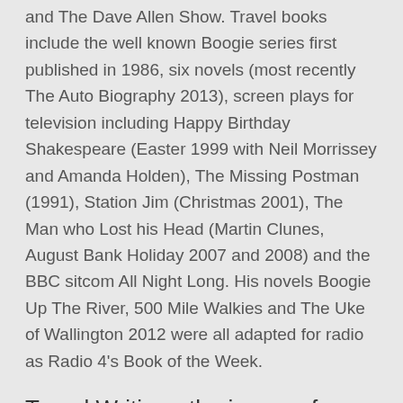and The Dave Allen Show. Travel books include the well known Boogie series first published in 1986, six novels (most recently The Auto Biography 2013), screen plays for television including Happy Birthday Shakespeare (Easter 1999 with Neil Morrissey and Amanda Holden), The Missing Postman (1991), Station Jim (Christmas 2001), The Man who Lost his Head (Martin Clunes, August Bank Holiday 2007 and 2008) and the BBC sitcom All Night Long. His novels Boogie Up The River, 500 Mile Walkies and The Uke of Wallington 2012 were all adapted for radio as Radio 4's Book of the Week.
Travel Writing - the journey from holiday postcard to front page
Whether you want to develop writing about travel for your newspaper articles, websites, blogs or as part of your novel in progress this course will help to unlock your